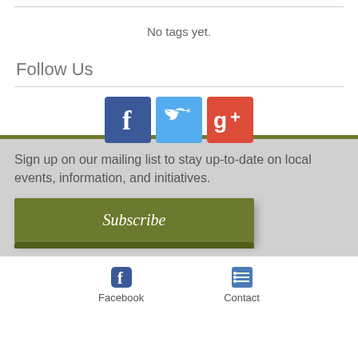No tags yet.
Follow Us
[Figure (infographic): Three social media icon buttons: Facebook (blue), Twitter (light blue), Google+ (red-orange)]
Sign up on our mailing list to stay up-to-date on local events, information, and initiatives.
Subscribe
Facebook   Contact